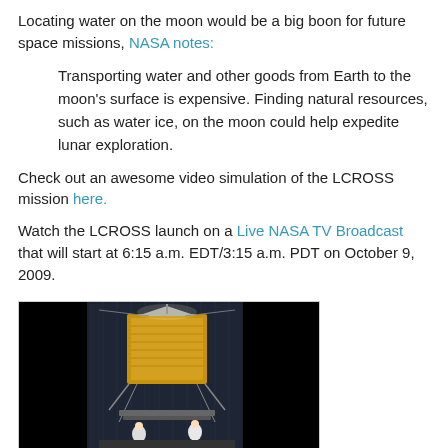Locating water on the moon would be a big boon for future space missions, NASA notes:
Transporting water and other goods from Earth to the moon's surface is expensive. Finding natural resources, such as water ice, on the moon could help expedite lunar exploration.
Check out an awesome video simulation of the LCROSS mission here.
Watch the LCROSS launch on a Live NASA TV Broadcast that will start at 6:15 a.m. EDT/3:15 a.m. PDT on October 9, 2009.
[Figure (photo): Photo of the LCROSS spacecraft in a testing facility, showing a gold-colored spacecraft module with technicians in white suits, set against a dark background with black panels on either side.]